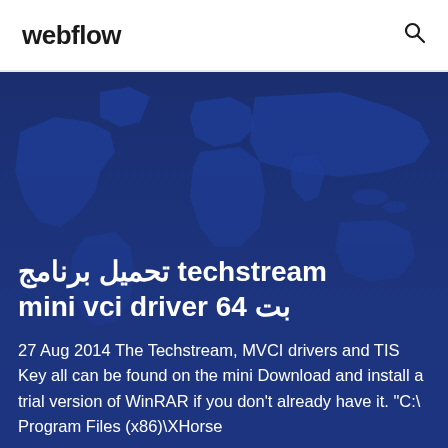webflow
[Figure (illustration): Dark blue world map background image used as hero section background]
تحميل برنامج techstream mini vci driver 64 بت
27 Aug 2014 The Techstream, MVCI drivers and TIS Key all can be found on the mini Download and install a trial version of WinRAR if you don't already have it. "C:\ Program Files (x86)\XHorse